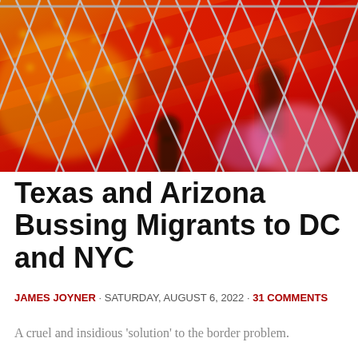[Figure (photo): A chain-link fence in the foreground with blurred silhouettes of people behind it, and an American flag with red, orange, and gold tones visible in the background.]
Texas and Arizona Bussing Migrants to DC and NYC
JAMES JOYNER · SATURDAY, AUGUST 6, 2022 · 31 COMMENTS
A cruel and insidious 'solution' to the border problem.